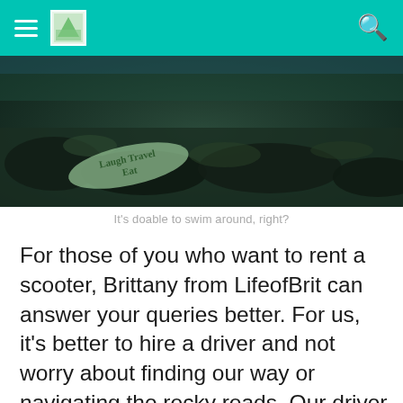Navigation header with hamburger menu, logo, and search icon
[Figure (photo): Underwater scene showing dark rocky seafloor with a small fish or marine creature, dark teal/green tones, with a watermark overlay reading 'Laugh Travel Eat']
It's doable to swim around, right?
For those of you who want to rent a scooter, Brittany from LifeofBrit can answer your queries better. For us, it's better to hire a driver and not worry about finding our way or navigating the rocky roads. Our driver did a good job of driving us around and hadn't once gotten lost! He even accompanied us around the sights and look after our bags when we went swimming etc. We booked him through MJ Travel...